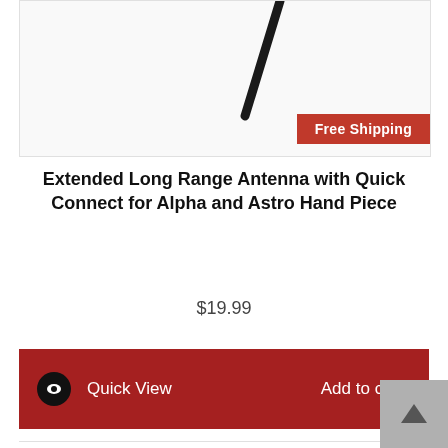[Figure (photo): Product image of Extended Long Range Antenna (black) with a Free Shipping badge in red at bottom right]
Extended Long Range Antenna with Quick Connect for Alpha and Astro Hand Piece
$19.99
[Figure (screenshot): Dark red action bar with eye icon, Quick View and Add to cart buttons in white text]
[Figure (photo): Product image of a blue Extended Long Range Antenna against white background]